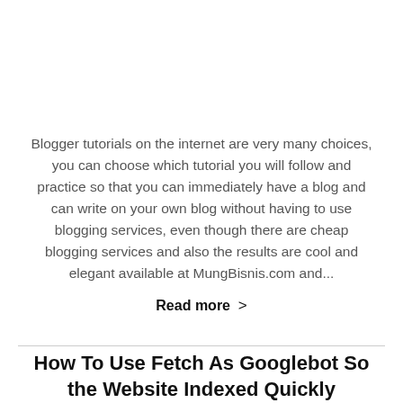Blogger tutorials on the internet are very many choices, you can choose which tutorial you will follow and practice so that you can immediately have a blog and can write on your own blog without having to use blogging services, even though there are cheap blogging services and also the results are cool and elegant available at MungBisnis.com and...
Read more >
How To Use Fetch As Googlebot So the Website Indexed Quickly